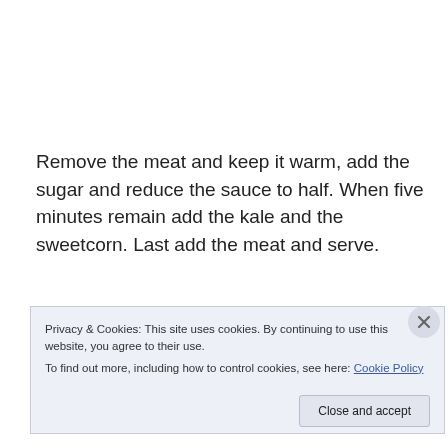Remove the meat and keep it warm, add the sugar and reduce the sauce to half. When five minutes remain add the kale and the sweetcorn. Last add the meat and serve.
The recipe suggested rice to go with the adobo but the
Privacy & Cookies: This site uses cookies. By continuing to use this website, you agree to their use.
To find out more, including how to control cookies, see here: Cookie Policy